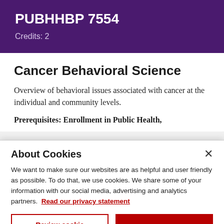PUBHHBP 7554
Credits: 2
Cancer Behavioral Science
Overview of behavioral issues associated with cancer at the individual and community levels.
Prerequisites: Enrollment in Public Health,
About Cookies
We want to make sure our websites are as helpful and user friendly as possible. To do that, we use cookies. We share some of your information with our social media, advertising and analytics partners.  Read our privacy statement
Review cookie settings
Accept cookies